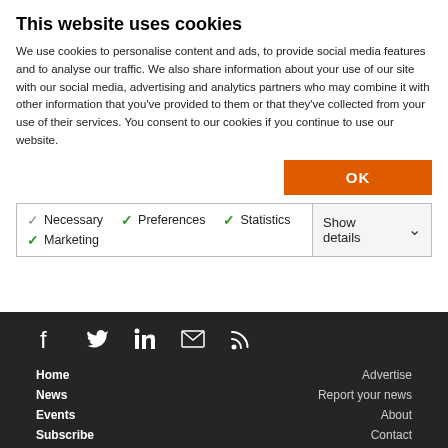This website uses cookies
We use cookies to personalise content and ads, to provide social media features and to analyse our traffic. We also share information about your use of our site with our social media, advertising and analytics partners who may combine it with other information that you've provided to them or that they've collected from your use of their services. You consent to our cookies if you continue to use our website.
OK
✓ Necessary ✓ Preferences ✓ Statistics ✓ Marketing | Show details ˅
[Figure (infographic): Social media icon bar with Facebook, Twitter, LinkedIn, Email, and RSS icons on dark background]
Home
News
Events
Subscribe
Advertise
Report your news
About
Contact